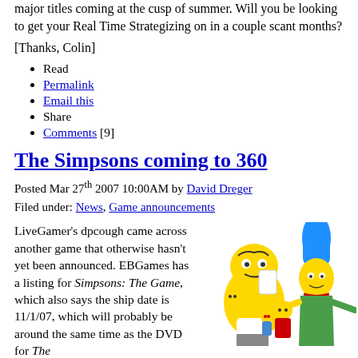major titles coming at the cusp of summer. Will you be looking to get your Real Time Strategizing on in a couple scant months?
[Thanks, Colin]
Read
Permalink
Email this
Share
Comments [9]
The Simpsons coming to 360
Posted Mar 27th 2007 10:00AM by David Dreger
Filed under: News, Game announcements
LiveGamer's dpcough came across another game that otherwise hasn't yet been announced. EBGames has a listing for Simpsons: The Game, which also says the ship date is 11/1/07, which will probably be around the same time as the DVD for The
[Figure (illustration): Cartoon illustration of the Simpsons family characters (Homer, Marge, Lisa, Maggie, Bart) in their typical animated style]